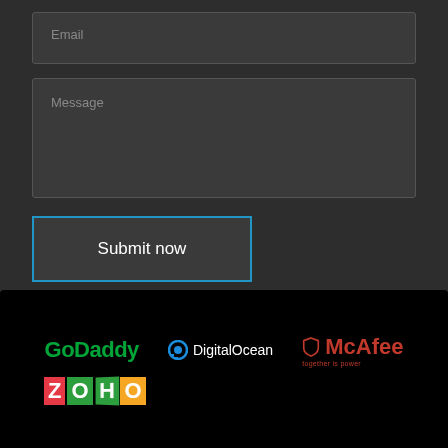Email
Message
Submit now
[Figure (logo): GoDaddy logo in green bold text]
[Figure (logo): DigitalOcean logo with blue circle icon and white text]
[Figure (logo): McAfee logo with shield icon in red text and tagline 'together is power']
[Figure (logo): Zoho logo with colorful block letters Z O H O on colored backgrounds]